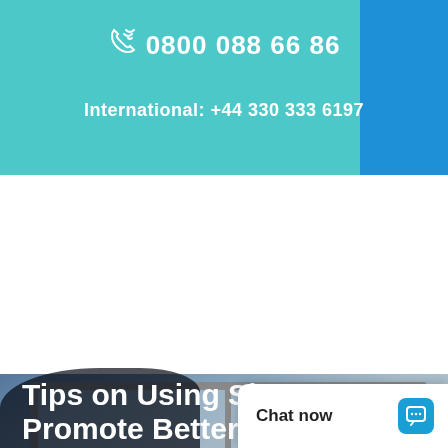0800 088 66 86
International: +44 330 333 6197
[Figure (photo): Background photo of a window with grey/blue tones, with a person partially visible at the bottom, dark overlay]
Mental Health
Tips on Using Sleep to Promote Better Mental Health
Chat now